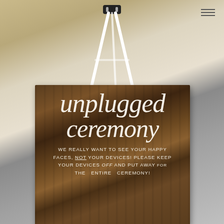[Figure (photo): Photograph of a rustic dark wooden wedding sign on a white easel reading 'unplugged ceremony' in cursive script, with smaller text below: 'WE REALLY WANT TO SEE YOUR HAPPY FACES, NOT YOUR DEVICES! PLEASE KEEP YOUR DEVICES OFF AND PUT AWAY FOR THE ENTIRE CEREMONY!' Set in a blurred venue interior. A hamburger menu icon is visible in the top-right corner.]